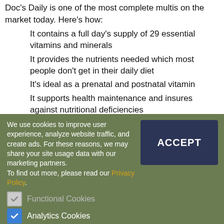Doc's Daily is one of the most complete multis on the market today. Here's how:
It contains a full day's supply of 29 essential vitamins and minerals
It provides the nutrients needed which most people don't get in their daily diet
It's ideal as a prenatal and postnatal vitamin
It supports health maintenance and insures against nutritional deficiencies
We use cookies to improve user experience, analyze website traffic, and create ads. For these reasons, we may share your site usage data with our marketing partners. To find out more, please read our Privacy Policy.
ACCEPT
Functional Cookies
Analytics Cookies
Advertisement Cookies